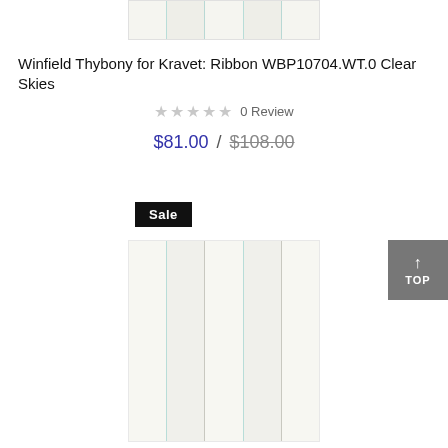[Figure (photo): Top partial product image showing striped fabric/wallpaper with vertical cream and light teal stripes]
Winfield Thybony for Kravet: Ribbon WBP10704.WT.0 Clear Skies
★★★★★ 0 Review
$81.00 / $108.00
Sale
[Figure (photo): Product image showing striped fabric/wallpaper with vertical cream and light grey/teal stripes]
TOP